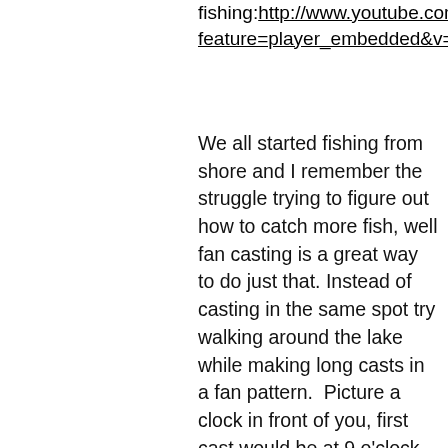fishing:http://www.youtube.com/watch?feature=player_embedded&v=rCJswZNtiFk
We all started fishing from shore and I remember the struggle trying to figure out how to catch more fish, well fan casting is a great way to do just that. Instead of casting in the same spot try walking around the lake while making long casts in a fan pattern. Picture a clock in front of you, first cast would be at 9 o'clock, second cast at ten o'clock, third cast at eleven o'clock and so on. This is typically done with artificial baits BUT there is nothing stopping you from doing it with live bait, just spread the fan out a little more, example cast at 9 o'clock then at twelve o'clock and so on.